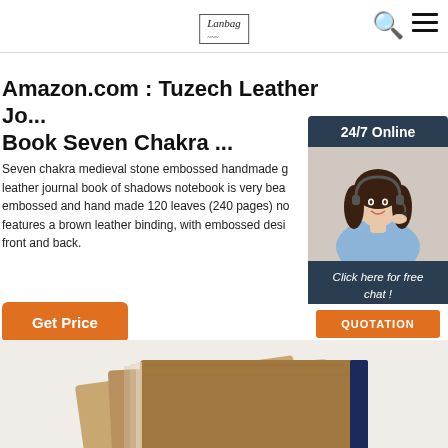Lanbag [logo] | Search icon | Menu icon
Amazon.com : Tuzech Leather Jo... Book Seven Chakra ...
Seven chakra medieval stone embossed handmade genuine leather journal book of shadows notebook is very beautifully embossed and hand made 120 leaves (240 pages) notebook features a brown leather binding, with embossed design on front and back.
Get Price
[Figure (screenshot): Chat widget with '24/7 Online' header, photo of woman with headset, 'Click here for free chat!' text, and orange QUOTATION button]
[Figure (photo): Bottom portion of leather-bound notebooks/journals stacked, showing brown covers]